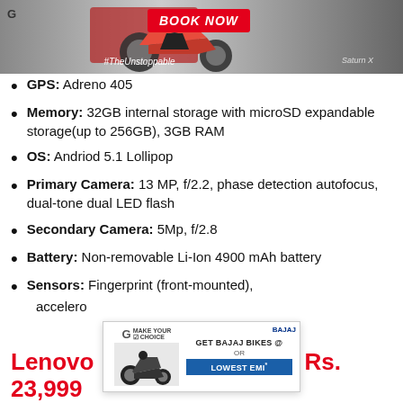[Figure (photo): Advertisement banner for a motorcycle with text 'BOOK NOW', '#TheUnstoppable' and a red motorcycle]
GPS: Adreno 405
Memory: 32GB internal storage with microSD expandable storage(up to 256GB), 3GB RAM
OS: Andriod 5.1 Lollipop
Primary Camera: 13 MP, f/2.2, phase detection autofocus, dual-tone dual LED flash
Secondary Camera: 5Mp, f/2.8
Battery: Non-removable Li-Ion 4900 mAh battery
Sensors: Fingerprint (front-mounted), accelero...
[Figure (photo): Overlay advertisement for Bajaj Bikes with 'MAKE YOUR CHOICE', 'GET BAJAJ BIKES @', 'OR', 'LOWEST EMI*' and a motorcycle image]
Lenovo ... oal: Rs. 23,999